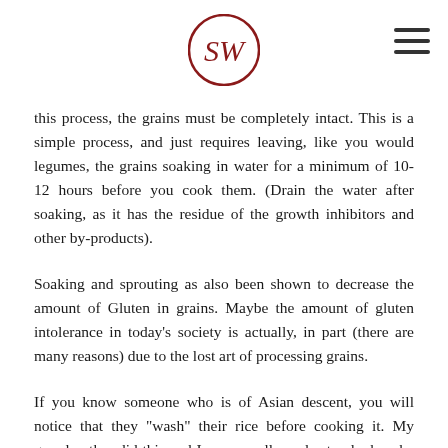SW logo and menu icon
this process, the grains must be completely intact. This is a simple process, and just requires leaving, like you would legumes, the grains soaking in water for a minimum of 10-12 hours before you cook them. (Drain the water after soaking, as it has the residue of the growth inhibitors and other by-products).
Soaking and sprouting as also been shown to decrease the amount of Gluten in grains. Maybe the amount of gluten intolerance in today's society is actually, in part (there are many reasons) due to the lost art of processing grains.
If you know someone who is of Asian descent, you will notice that they "wash" their rice before cooking it. My grandmother did this and I never really understood why, she probably didn't either, it's just "What you do"